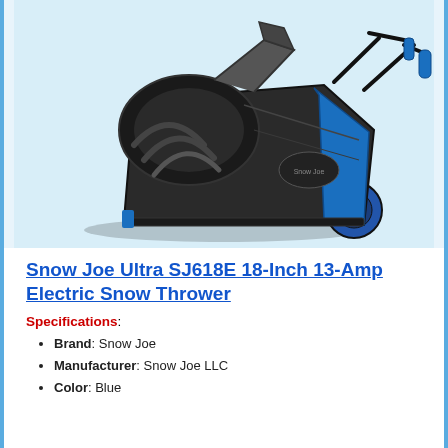[Figure (photo): Photo of Snow Joe Ultra SJ618E 18-Inch 13-Amp Electric Snow Thrower — a black and blue electric snow blower shown in a three-quarter angle view against a light blue background]
Snow Joe Ultra SJ618E 18-Inch 13-Amp Electric Snow Thrower
Specifications:
Brand: Snow Joe
Manufacturer: Snow Joe LLC
Color: Blue